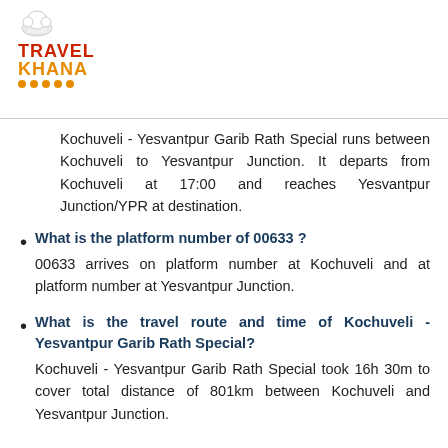[Figure (logo): Travel Khana logo with chef hat icon, red 'TRAVEL' text and orange 'KHANA' text with orange dots underline]
Kochuveli - Yesvantpur Garib Rath Special runs between Kochuveli to Yesvantpur Junction. It departs from Kochuveli at 17:00 and reaches Yesvantpur Junction/YPR at destination.
What is the platform number of 00633 ?
00633 arrives on platform number at Kochuveli and at platform number at Yesvantpur Junction.
What is the travel route and time of Kochuveli - Yesvantpur Garib Rath Special?
Kochuveli - Yesvantpur Garib Rath Special took 16h 30m to cover total distance of 801km between Kochuveli and Yesvantpur Junction.